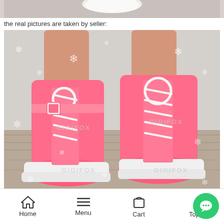[Figure (photo): Top portion of a cropped product photo showing white shoes on a light background]
the real pictures are taken by seller:
[Figure (photo): Photo of bright pink platform wedge lace-up boots with white soles and white laces, watermarked with GIGIFOX, worn by a person standing on a wooden floor with a snowflake-patterned overlay]
Home   Menu   Cart   Top